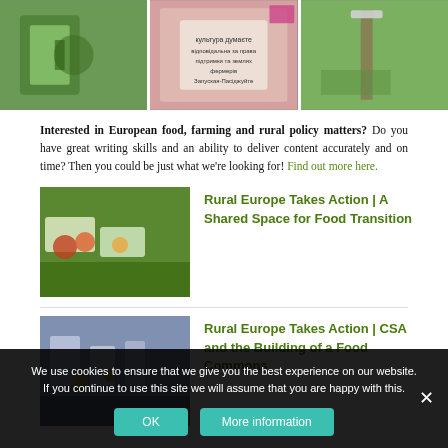[Figure (photo): Three photos side by side: person in green shirt holding a paper, woman in pink holding a protest sign with Cyrillic text, person standing in grass next to a sign]
Interested in European food, farming and rural policy matters? Do you have great writing skills and an ability to deliver content accurately and on time? Then you could be just what we're looking for! Find out more here.
[Figure (photo): Thumbnail image of produce/vegetables in containers]
Rural Europe Takes Action | A Shared Space for Food Transition
[Figure (photo): Thumbnail image of rural market or community gathering]
Rural Europe Takes Action | CSA and the Building of a Food Commons
We use cookies to ensure that we give you the best experience on our website. If you continue to use this site we will assume that you are happy with this.